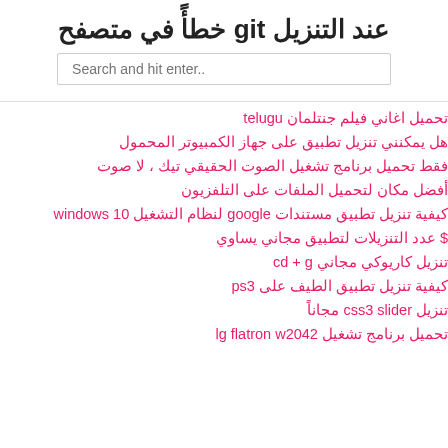خطأً في متصفح git عند التنزيل
تحميل اغاني فيلم جنتلمان telugu
هل يمكنني تنزيل تطبيق على جهاز الكمبيوتر المحمول
فقط تحميل برنامج تشغيل الصوت الحقيقي تيك ، لا صوت
أفضل مكان لتحميل الملفات على التلفزيون
كيفية تنزيل تطبيق مستندات google لنظام التشغيل windows 10
$ عدد التنزيلات لتطبيق مجاني يساوي
تنزيل كاريوكي مجاني cd + g
كيفية تنزيل تطبيق الطيف على ps3
تنزيل css3 slider مجاناً
تحميل برنامج تشغيل lg flatron w2042